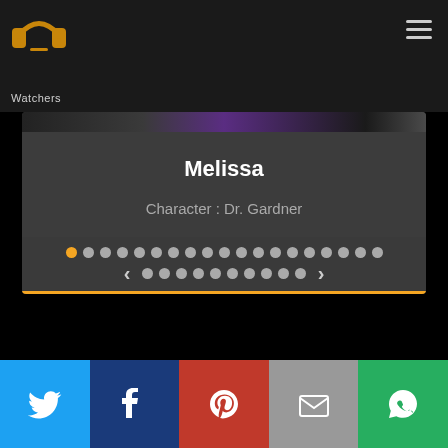PP Watchers logo and navigation
[Figure (screenshot): Character card showing Melissa, Character: Dr. Gardner with carousel dot navigation]
Melissa
Character : Dr. Gardner
[Figure (infographic): Social share bar with Twitter, Facebook, Pinterest, Email, WhatsApp buttons]